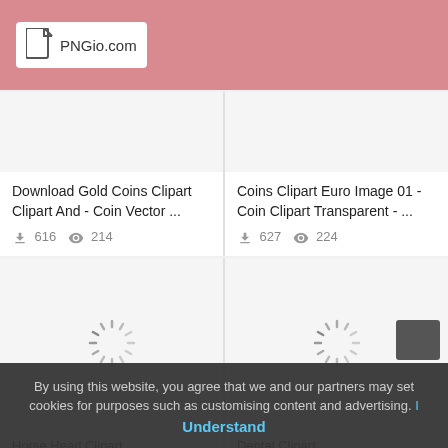PNGio.com
Download Gold Coins Clipart Clipart And - Coin Vector ...
616 downloads, 214 views
Coins Clipart Euro Image 01 - Coin Clipart Transparent - ...
627 downloads, 224 views
[Figure (illustration): Loading spinner icon for Horse Head Clipart]
Horse Head Clipart
971 downloads, 564 views
[Figure (illustration): Loading spinner icon for Dental Clipart]
Dental Clipart
855 downloads, 450 views
By using this website, you agree that we and our partners may set cookies for purposes such as customising content and advertising.
Understand